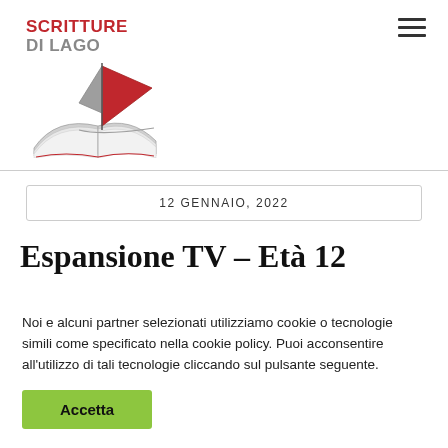[Figure (logo): Scritture di Lago logo with red sailboat over open book, text SCRITTURE DI LAGO in red and grey]
12 GENNAIO, 2022
Espansione TV – Età 12
Noi e alcuni partner selezionati utilizziamo cookie o tecnologie simili come specificato nella cookie policy. Puoi acconsentire all'utilizzo di tali tecnologie cliccando sul pulsante seguente.
Accetta